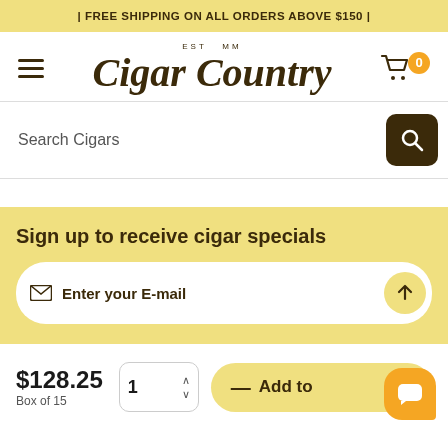| FREE SHIPPING ON ALL ORDERS ABOVE $150 |
[Figure (logo): Cigar Country logo with EST MM subtitle, hamburger menu icon, and shopping cart with badge showing 0]
[Figure (screenshot): Search bar with text 'Search Cigars' and dark brown search button]
Sign up to receive cigar specials
Enter your E-mail
$128.25
Box of 15
— Add to